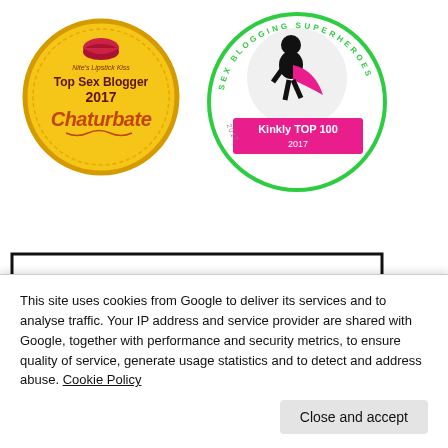[Figure (logo): Chaturbate Top Sex Blogger 2017 circular badge in orange/gold with lips icon and stylized brand name]
[Figure (logo): Kinkly Sex Blogging Superheroes Top 100 2017 circular badge in green and pink with silhouette figure]
[Figure (logo): ETO Best Erotic logo with large red E followed by black TO letters inside a bordered box, with BEST EROTIC text]
This site uses cookies from Google to deliver its services and to analyse traffic. Your IP address and service provider are shared with Google, together with performance and security metrics, to ensure quality of service, generate usage statistics and to detect and address abuse. Cookie Policy
Close and accept